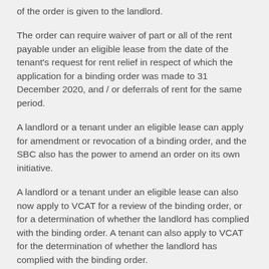of the order is given to the landlord.
The order can require waiver of part or all of the rent payable under an eligible lease from the date of the tenant's request for rent relief in respect of which the application for a binding order was made to 31 December 2020, and / or deferrals of rent for the same period.
A landlord or a tenant under an eligible lease can apply for amendment or revocation of a binding order, and the SBC also has the power to amend an order on its own initiative.
A landlord or a tenant under an eligible lease can also now apply to VCAT for a review of the binding order, or for a determination of whether the landlord has complied with the binding order. A tenant can also apply to VCAT for the determination of whether the landlord has complied with the binding order.